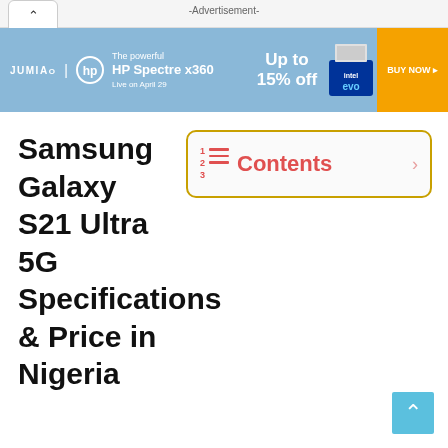-Advertisement-
[Figure (infographic): Jumia and HP advertisement banner for HP Spectre x360 laptop offering Up to 15% off, with BUY NOW button]
Samsung Galaxy S21 Ultra 5G Specifications & Price in Nigeria
Contents